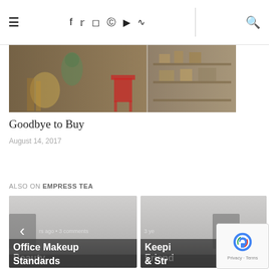≡  f  t  ⊕  ℗  ▶  ⊗  |  🔍
[Figure (photo): Banner image showing antiques and collectibles on shelves, including brass items, ceramics, a red stool, and wooden furniture]
Goodbye to Buy
August 14, 2017
ALSO ON EMPRESS TEA
[Figure (screenshot): Card with left arrow navigation showing 'rs ago • 3 comments' and title 'Office Makeup Beauty Standards']
[Figure (screenshot): Card with right arrow navigation showing '3 ye...' and partial title 'Keepi... Friend... & Str...']